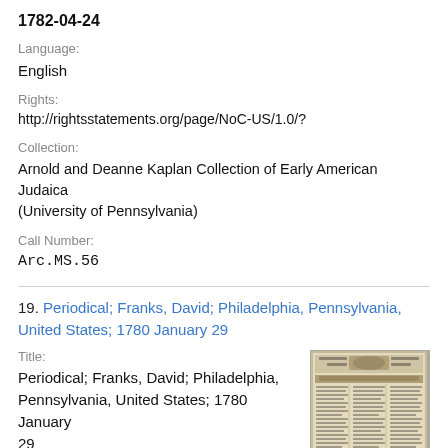1782-04-24
Language:
English
Rights:
http://rightsstatements.org/page/NoC-US/1.0/?
Collection:
Arnold and Deanne Kaplan Collection of Early American Judaica (University of Pennsylvania)
Call Number:
Arc.MS.56
19. Periodical; Franks, David; Philadelphia, Pennsylvania, United States; 1780 January 29
Title:
Periodical; Franks, David; Philadelphia, Pennsylvania, United States; 1780 January 29
[Figure (photo): Thumbnail image of an old newspaper page, appearing aged and yellowed, with a masthead and columns of text.]
Description:
Full ad for the "Proprietors of Indiana," the largest land speculation company in the